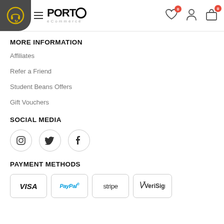PORTO eCommerce — navigation header with hamburger menu, wishlist, account, and cart icons
MORE INFORMATION
Affiliates
Refer a Friend
Student Beans Offers
Gift Vouchers
SOCIAL MEDIA
[Figure (other): Social media icon buttons: Instagram, Twitter, Facebook — circular bordered icons]
PAYMENT METHODS
[Figure (other): Payment method logos: VISA, PayPal, stripe, VeriSign — each in a rounded rectangle border]